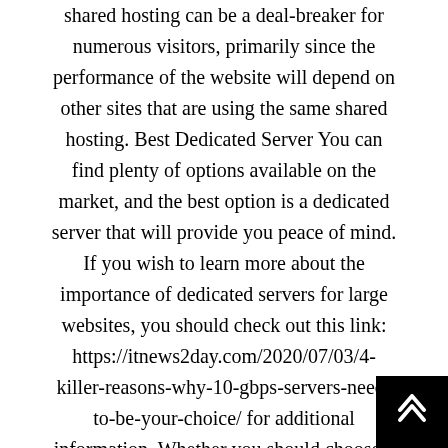shared hosting can be a deal-breaker for numerous visitors, primarily since the performance of the website will depend on other sites that are using the same shared hosting. Best Dedicated Server You can find plenty of options available on the market, and the best option is a dedicated server that will provide you peace of mind. If you wish to learn more about the importance of dedicated servers for large websites, you should check out this link: https://itnews2day.com/2020/07/03/4-killer-reasons-why-10-gbps-servers-need-to-be-your-choice/ for additional information. Whether you should choose a dedicated server depends on numerous factors. If you are dealing with a surge of traffic and you anticipated further growth in the future, you should get it because you will get a